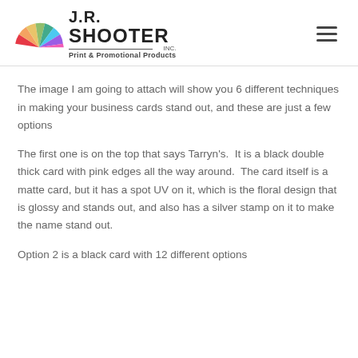J.R. SHOOTER INC. Print & Promotional Products
The image I am going to attach will show you 6 different techniques in making your business cards stand out, and these are just a few options
The first one is on the top that says Tarryn's.  It is a black double thick card with pink edges all the way around.  The card itself is a matte card, but it has a spot UV on it, which is the floral design that is glossy and stands out, and also has a silver stamp on it to make the name stand out.
Option 2 is a black card with 12 different options